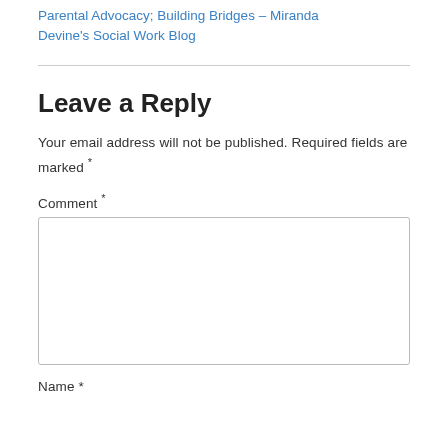Pingback: Parental Advocacy; Building Bridges – Miranda Devine's Social Work Blog
Leave a Reply
Your email address will not be published. Required fields are marked *
Comment *
Name *